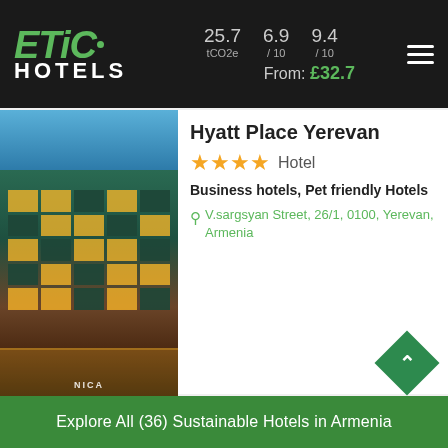ETIC HOTELS — 25.7 tCO2e | 6.9 / 10 | 9.4 / 10 | From: £32.7
[Figure (photo): Hyatt Place Yerevan building exterior at night, lit windows]
Hyatt Place Yerevan
★★★★  Hotel
Business hotels, Pet friendly Hotels
V.sargsyan Street, 26/1, 0100, Yerevan, Armenia
[Figure (infographic): CO2 cloud icon showing 32.9 tCO2e, green standard badge showing 6.9/10, green star showing 9.2/10]
32.9 tCO2e
6.9 / 10
9.2 / 10
From: £39.6
Explore All (36) Sustainable Hotels in Armenia